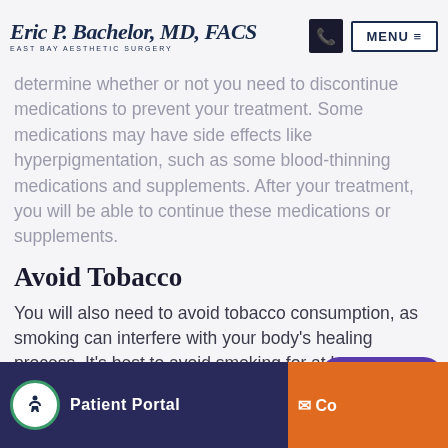Eric P. Bachelor, MD, FACS — East Bay Aesthetic Surgery | MENU
determine whether or not you need to discontinue medications to prevent your treatment. Some medications may have side effects like hyperpigmentation, such as some blood-thinning medications and supplements. After your treatment, you will be able to continue these medications or supplements.
Avoid Tobacco
You will also need to avoid tobacco consumption, as smoking can interfere with your body's healing process. It's best to avoid smoking for at least two weeks before your treatment so your immune system is in a
Patient Portal | Contact | Message us